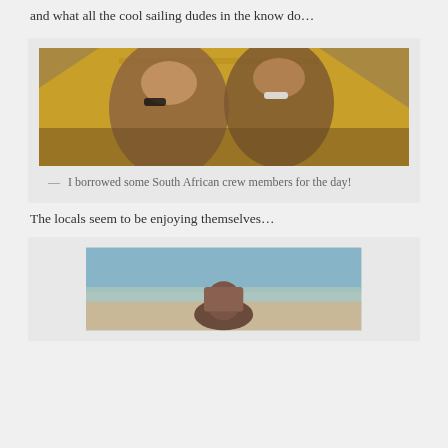and what all the cool sailing dudes in the know do…
[Figure (photo): Two shirtless men wearing sunglasses sitting under a large yellow umbrella outdoors]
— I borrowed some South African crew members for the day!
The locals seem to be enjoying themselves…
[Figure (photo): Person from behind in water at a beach, sea visible in background]